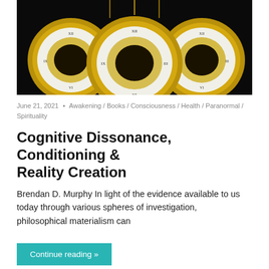[Figure (photo): Three ornate gold pocket watches with visible mechanical movements against a black background, with silhouettes of human heads visible at the top.]
June 21, 2021  •  Awakening / Books / Consciousness / Health / Paranormal / Spirituality
Cognitive Dissonance, Conditioning & Reality Creation
Brendan D. Murphy In light of the evidence available to us today through various spheres of investigation, philosophical materialism can
Continue reading »